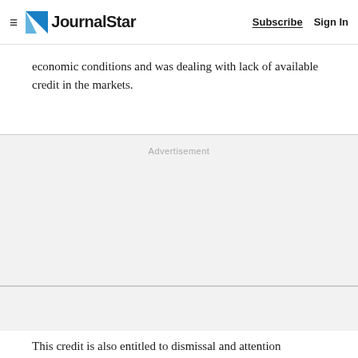≡ JournalStar  Subscribe  Sign In
economic conditions and was dealing with lack of available credit in the markets.
[Figure (other): Advertisement placeholder block (gray background)]
This credit is also entitled to dismissal and attention